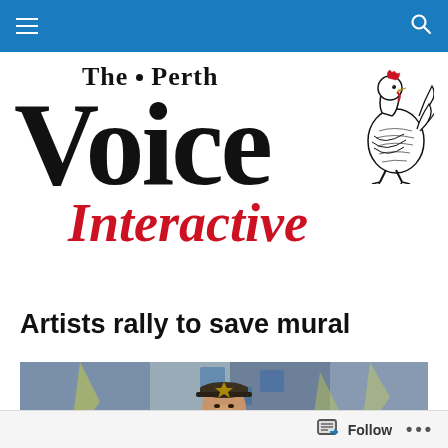Navigation bar with hamburger menu and search icon
[Figure (logo): The Perth Voice Interactive logo with large 'Voice' text in black, 'The Perth' above, 'Interactive' in red italic script, and a rooster illustration on the right]
Artists rally to save mural
[Figure (photo): A smiling woman wearing a cap in front of a colorful graffiti mural with blue and yellow tones]
Follow ...